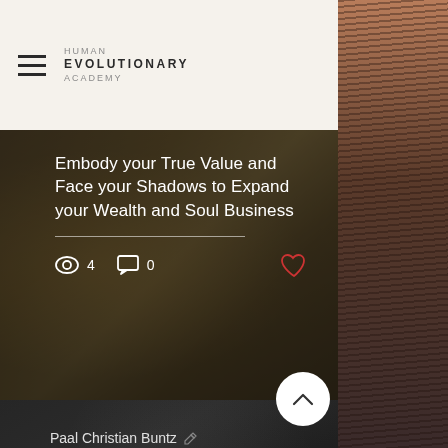HUMAN EVOLUTIONARY ACADEMY
Embody your True Value and Face your Shadows to Expand your Wealth and Soul Business
4 views  0 comments
Paal Christian Buntz  Feb 15 · 1 min